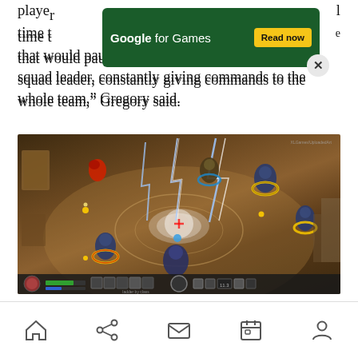player... that would pause often play much more like a squad leader, constantly giving commands to the whole team,” Gregory said.
[Figure (screenshot): Screenshot of a top-down tactical RPG game showing characters in combat with lightning effects and a game HUD at the bottom.]
Navigation bar with home, share, mail, calendar, and profile icons